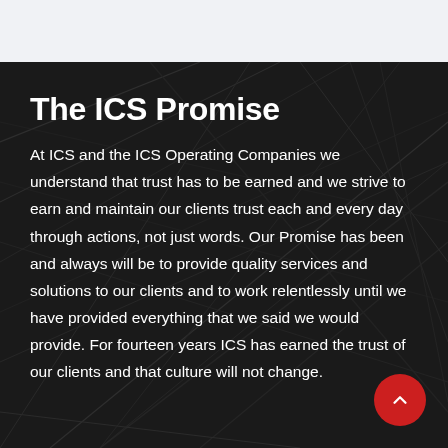The ICS Promise
At ICS and the ICS Operating Companies we understand that trust has to be earned and we strive to earn and maintain our clients trust each and every day through actions, not just words. Our Promise has been and always will be to provide quality services and solutions to our clients and to work relentlessly until we have provided everything that we said we would provide. For fourteen years ICS has earned the trust of our clients and that culture will not change.